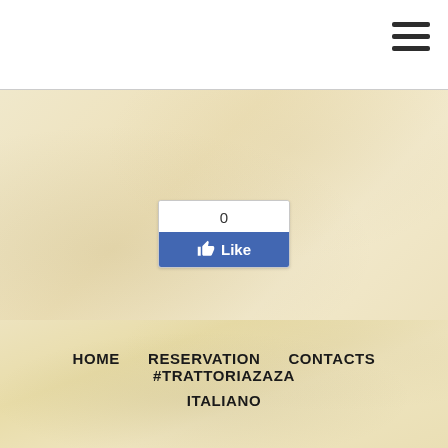[Figure (screenshot): Hamburger menu icon (three horizontal lines) in top right corner of white header bar]
[Figure (screenshot): Facebook Like button widget showing count of 0 and blue Like button with thumbs up icon]
HOME
RESERVATION
CONTACTS
#TRATTORIAZAZA
ITALIANO